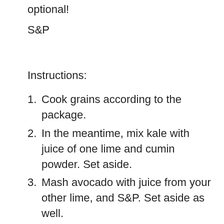optional!
S&P
Instructions:
1. Cook grains according to the package.
2. In the meantime, mix kale with juice of one lime and cumin powder. Set aside.
3. Mash avocado with juice from your other lime, and S&P. Set aside as well.
4. Heat black beans with garlic, cayenne pepper, and S&P for approximately 5